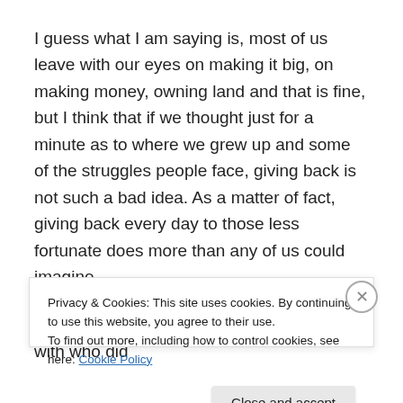I guess what I am saying is, most of us leave with our eyes on making it big, on making money, owning land and that is fine, but I think that if we thought just for a minute as to where we grew up and some of the struggles people face, giving back is not such a bad idea. As a matter of fact, giving back every day to those less fortunate does more than any of us could imagine.
I always think of one person that I grew up with who did
Privacy & Cookies: This site uses cookies. By continuing to use this website, you agree to their use.
To find out more, including how to control cookies, see here: Cookie Policy
Close and accept